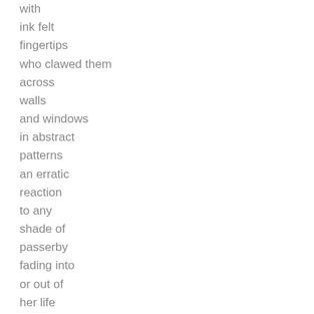with
ink felt
fingertips
who clawed them
across
walls
and windows
in abstract
patterns
an erratic
reaction
to any
shade of
passerby
fading into
or out of
her life